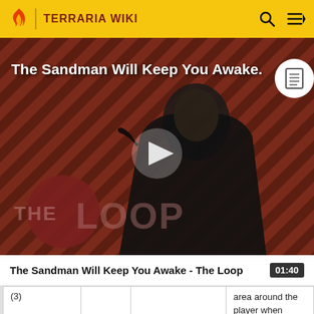TERRARIA WIKI
[Figure (screenshot): Video thumbnail for 'The Sandman Will Keep You Awake - The Loop' showing a dark-cloaked figure against a red diagonal striped background with 'THE LOOP' text overlay and a play button in the center]
The Sandman Will Keep You Awake - The Loop  01:40
| (3) |  |  | area around the player when equipped. It can be placed on walls and |
|  |  | Topaz |  |